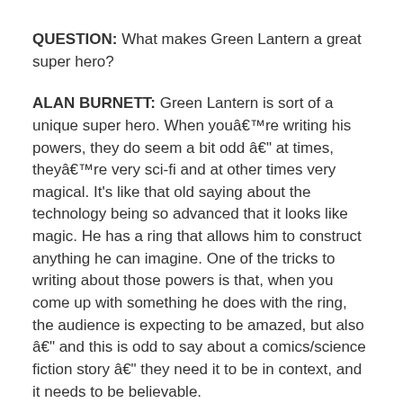QUESTION: What makes Green Lantern a great super hero?
ALAN BURNETT: Green Lantern is sort of a unique super hero. When youâre writing his powers, they do seem a bit odd â at times, theyâre very sci-fi and at other times very magical. It’s like that old saying about the technology being so advanced that it looks like magic. He has a ring that allows him to construct anything he can imagine. One of the tricks to writing about those powers is that, when you come up with something he does with the ring, the audience is expecting to be amazed, but also â and this is odd to say about a comics/science fiction story â they need it to be in context, and it needs to be believable.
Hal is also a very colorful character and heâs in the middle of this big soap opera in space. Itâs a very